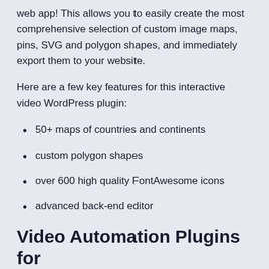web app! This allows you to easily create the most comprehensive selection of custom image maps, pins, SVG and polygon shapes, and immediately export them to your website.
Here are a few key features for this interactive video WordPress plugin:
50+ maps of countries and continents
custom polygon shapes
over 600 high quality FontAwesome icons
advanced back-end editor
Video Automation Plugins for